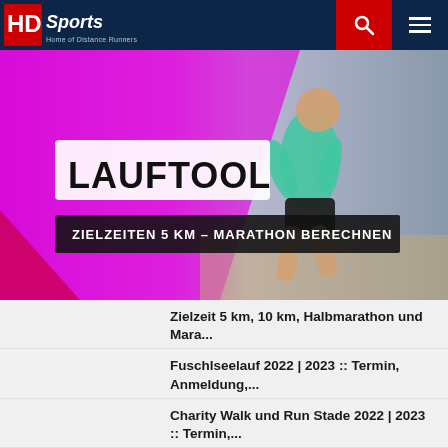HD Sports – Home of Distance Runners
[Figure (photo): Banner image for LAUFTOOL running calculator tool. Pink/magenta and dark background with runner in teal vest. Text: LAUFTOOL / ZIELZEITEN 5 KM – MARATHON BERECHNEN]
Zielzeit 5 km, 10 km, Halbmarathon und Mara...
Fuschlseelauf 2022 | 2023 :: Termin, Anmeldung,...
Charity Walk und Run Stade 2022 | 2023 :: Termin,...
Marathon du Finistere La Transleonarde Marathon